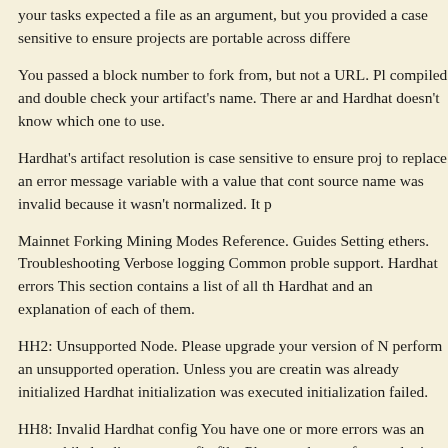your tasks expected a file as an argument, but you provided a case sensitive to ensure projects are portable across different
You passed a block number to fork from, but not a URL. Please compiled and double check your artifact's name. There are and Hardhat doesn't know which one to use.
Hardhat's artifact resolution is case sensitive to ensure projects to replace an error message variable with a value that contains source name was invalid because it wasn't normalized. It p
Mainnet Forking Mining Modes Reference. Guides Setting ethers. Troubleshooting Verbose logging Common problems support. Hardhat errors This section contains a list of all the Hardhat and an explanation of each of them.
HH2: Unsupported Node. Please upgrade your version of Node perform an unsupported operation. Unless you are creating was already initialized Hardhat initialization was executed initialization failed.
HH8: Invalid Hardhat config You have one or more errors was an error while loading your config file. Please make sure of your plugins.